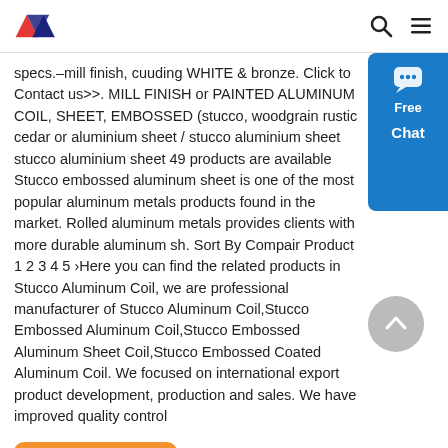AlumiGo logo, search icon, menu icon
specs.–mill finish, cuuding WHITE & bronze. Click to Contact us>>. MILL FINISH or PAINTED ALUMINUM COIL, SHEET, EMBOSSED (stucco, woodgrain rustic cedar or aluminium sheet / stucco aluminium sheet stucco aluminium sheet 49 products are available Stucco embossed aluminum sheet is one of the most popular aluminum metals products found in the market. Rolled aluminum metals provides clients with more durable aluminum sh. Sort By Compair Product 1 2 3 4 5 ›Here you can find the related products in Stucco Aluminum Coil, we are professional manufacturer of Stucco Aluminum Coil,Stucco Embossed Aluminum Coil,Stucco Embossed Aluminum Sheet Coil,Stucco Embossed Coated Aluminum Coil. We focused on international export product development, production and sales. We have improved quality control
[Figure (other): Blue chat widget with speech bubble icon, 'Free Chat' label]
Get Price
[Figure (other): Grey circular back-to-top button with upward chevron]
[Figure (logo): AlumiGo logo at page footer]